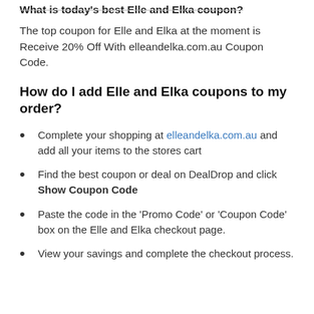What is today's best Elle and Elka coupon?
The top coupon for Elle and Elka at the moment is Receive 20% Off With elleandelka.com.au Coupon Code.
How do I add Elle and Elka coupons to my order?
Complete your shopping at elleandelka.com.au and add all your items to the stores cart
Find the best coupon or deal on DealDrop and click Show Coupon Code
Paste the code in the 'Promo Code' or 'Coupon Code' box on the Elle and Elka checkout page.
View your savings and complete the checkout process.